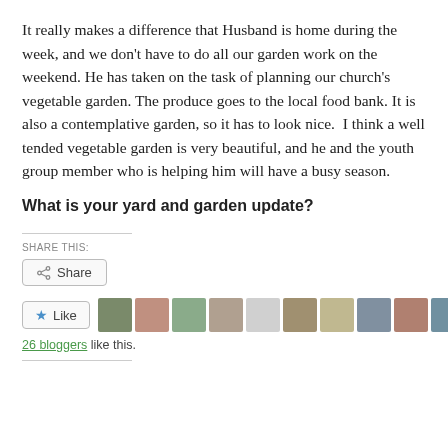It really makes a difference that Husband is home during the week, and we don't have to do all our garden work on the weekend. He has taken on the task of planning our church's vegetable garden. The produce goes to the local food bank. It is also a contemplative garden, so it has to look nice.  I think a well tended vegetable garden is very beautiful, and he and the youth group member who is helping him will have a busy season.
What is your yard and garden update?
SHARE THIS:
Share
Like
26 bloggers like this.